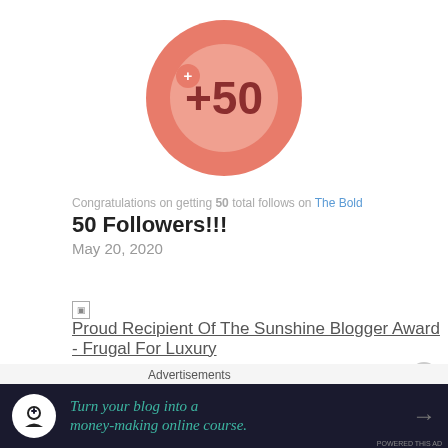[Figure (illustration): Circular salmon/coral badge with a lighter inner circle and '+50' text in dark red/brown, representing a milestone of 50 followers]
Congratulations on getting 50 total follows on The Bold
50 Followers!!!
May 20, 2020
[Figure (illustration): Thumbnail image placeholder for Proud Recipient Of The Sunshine Blogger Award - Frugal For Luxury]
Proud Recipient Of The Sunshine Blogger Award - Frugal For Luxury
The Sunshine Blogger Award #2
Jul 3, 2020
Advertisements
[Figure (infographic): Dark banner advertisement reading 'Turn your blog into a money-making online course.' with a white circular icon and arrow]